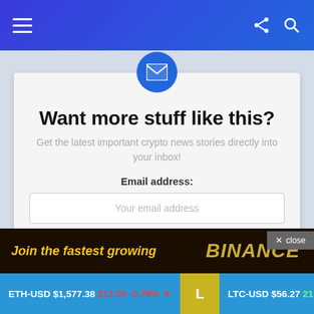Navigation bar with hamburger menu and icons
[Figure (screenshot): Newsletter signup card with email icon, title, subtitle, email input field, SIGN UP button, and no-spam note]
Want more stuff like this?
Get the latest important crypto news stories directly into your inbox!
Email address:
Your email address
SIGN UP
Don't worry, we don't spam
✕ close
Join the fastest growing
ETH-USD $1,577.38 $12.00 -0.75% ▼   LTC-USD $56.27